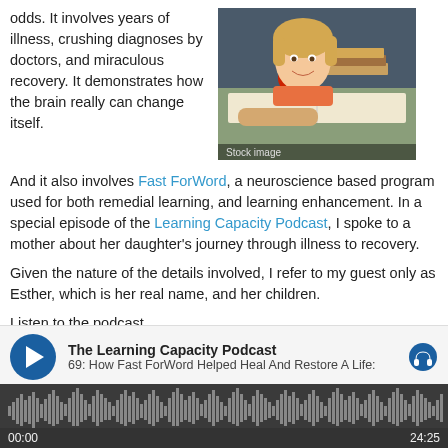odds. It involves years of illness, crushing diagnoses by doctors, and miraculous recovery. It demonstrates how the brain really can change itself.
[Figure (photo): Young smiling girl lying on open books with an apple and stack of books beside her. Caption reads 'Stock image'.]
And it also involves Fast ForWord, a neuroscience based program used for both remedial learning, and learning enhancement. In a special episode of the Learning Capacity Podcast, I spoke to a mother about her daughter's journey through illness to recovery.
Given the nature of the details involved, I refer to my guest only as Esther, which is her real name, and her children.
Listen to the podcast.
[Figure (other): Podcast player widget for 'The Learning Capacity Podcast', episode 69: How Fast ForWord Helped Heal And Restore A Life. Shows play button, waveform, and time 00:00 to 24:25.]